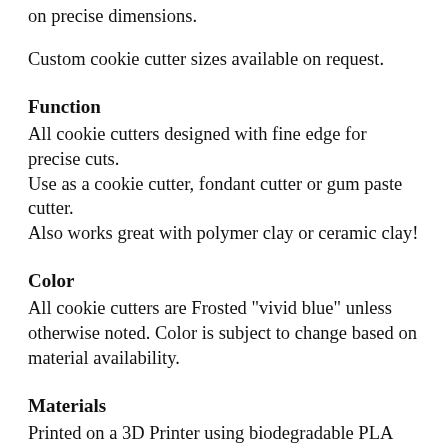on precise dimensions.
Custom cookie cutter sizes available on request.
Function
All cookie cutters designed with fine edge for precise cuts.
Use as a cookie cutter, fondant cutter or gum paste cutter.
Also works great with polymer clay or ceramic clay!
Color
All cookie cutters are Frosted "vivid blue" unless otherwise noted. Color is subject to change based on material availability.
Materials
Printed on a 3D Printer using biodegradable PLA